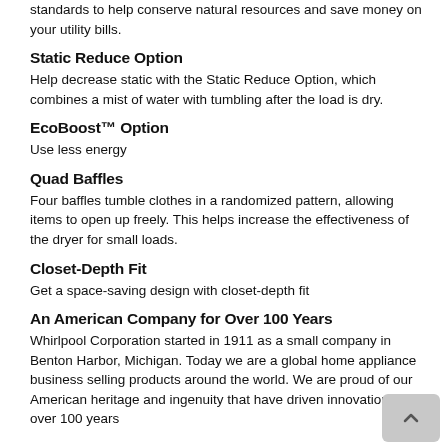standards to help conserve natural resources and save money on your utility bills.
Static Reduce Option
Help decrease static with the Static Reduce Option, which combines a mist of water with tumbling after the load is dry.
EcoBoost™ Option
Use less energy
Quad Baffles
Four baffles tumble clothes in a randomized pattern, allowing items to open up freely. This helps increase the effectiveness of the dryer for small loads.
Closet-Depth Fit
Get a space-saving design with closet-depth fit
An American Company for Over 100 Years
Whirlpool Corporation started in 1911 as a small company in Benton Harbor, Michigan. Today we are a global home appliance business selling products around the world. We are proud of our American heritage and ingenuity that have driven innovation for over 100 years